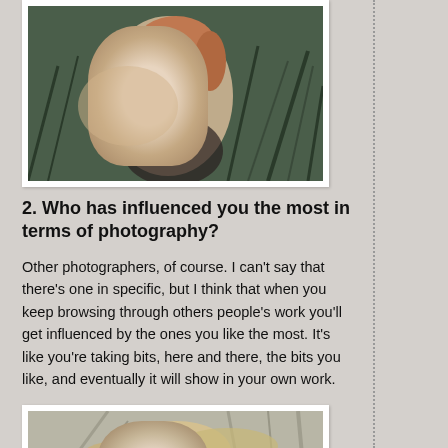[Figure (photo): A young woman with light skin and reddish hair, eyes closed, hands near her face, surrounded by dark green grassy background. Artistic portrait photography.]
2. Who has influenced you the most in terms of photography?
Other photographers, of course. I can't say that there's one in specific, but I think that when you keep browsing through others people's work you'll get influenced by the ones you like the most. It's like you're taking bits, here and there, the bits you like, and eventually it will show in your own work.
[Figure (photo): A young blonde woman with windswept hair covering part of her face, lying among branches or foliage, soft muted tones. Artistic portrait photography.]